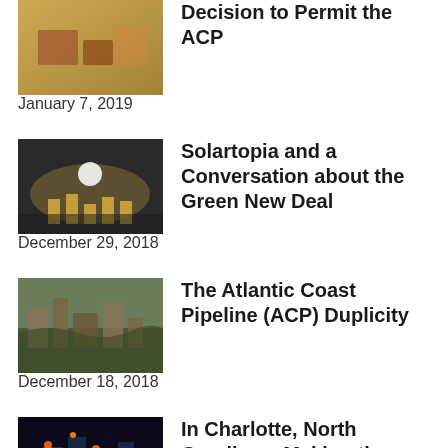Decision to Permit the ACP
January 7, 2019
[Figure (photo): Crowd of protesters in yellow vests at a rally]
Solartopia and a Conversation about the Green New Deal
December 29, 2018
[Figure (photo): Aerial view of highway construction or pipeline project]
The Atlantic Coast Pipeline (ACP) Duplicity
December 18, 2018
[Figure (photo): City skyline at night with lit industrial facilities]
In Charlotte, North Carolina – Making the Impossible Possible